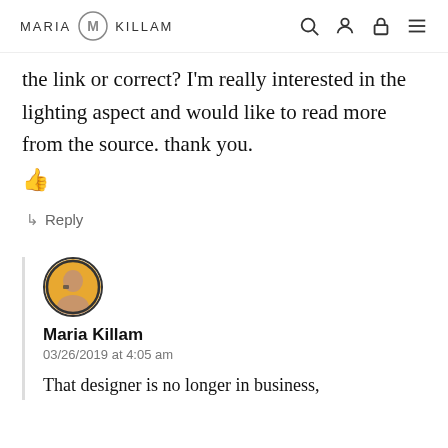MARIA KILLAM
the link or correct? I'm really interested in the lighting aspect and would like to read more from the source. thank you.
👍
↳ Reply
Maria Killam
03/26/2019 at 4:05 am
That designer is no longer in business,